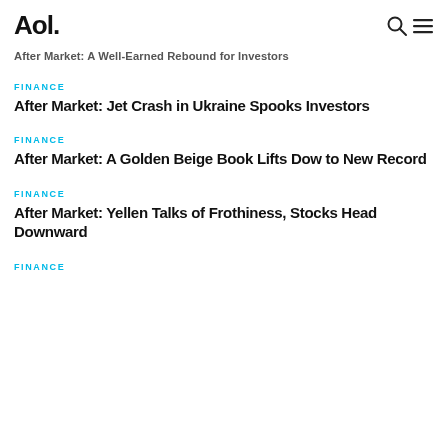Aol.
After Market: A Well-Earned Rebound for Investors
FINANCE
After Market: Jet Crash in Ukraine Spooks Investors
FINANCE
After Market: A Golden Beige Book Lifts Dow to New Record
FINANCE
After Market: Yellen Talks of Frothiness, Stocks Head Downward
FINANCE